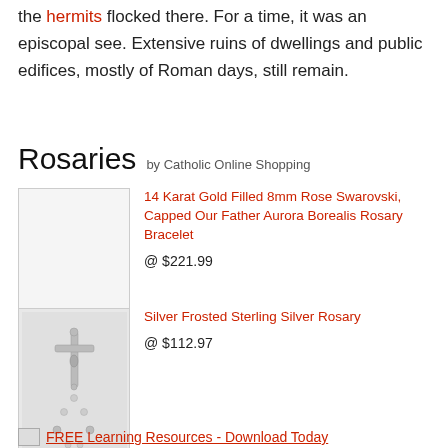the hermits flocked there. For a time, it was an episcopal see. Extensive ruins of dwellings and public edifices, mostly of Roman days, still remain.
Rosaries by Catholic Online Shopping
[Figure (photo): Empty light gray product image placeholder box]
14 Karat Gold Filled 8mm Rose Swarovski, Capped Our Father Aurora Borealis Rosary Bracelet
@ $221.99
[Figure (photo): Silver frosted sterling silver rosary with crucifix]
Silver Frosted Sterling Silver Rosary
@ $112.97
FREE Learning Resources - Download Today